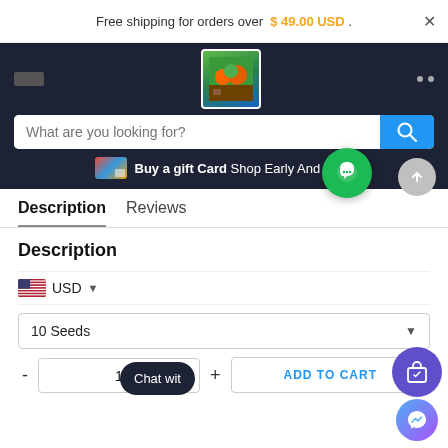Free shipping for orders over $49.00 USD .
[Figure (screenshot): E-commerce website navigation header with logo, search bar, and gift card banner on dark background]
Description | Reviews
Description
USD currency selector dropdown
10 Seeds dropdown
Quantity: 1, ADD TO CART button